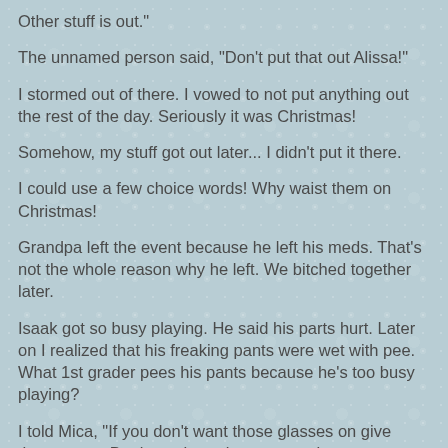Other stuff is out."
The unnamed person said, "Don't put that out Alissa!"
I stormed out of there. I vowed to not put anything out the rest of the day. Seriously it was Christmas!
Somehow, my stuff got out later... I didn't put it there.
I could use a few choice words! Why waist them on Christmas!
Grandpa left the event because he left his meds. That's not the whole reason why he left. We bitched together later.
Isaak got so busy playing. He said his parts hurt. Later on I realized that his freaking pants were wet with pee. What 1st grader pees his pants because he's too busy playing?
I told Mica, "If you don't want those glasses on give them to me. Don't set them down somewhere to get broken." Well he broke them in 1 day.